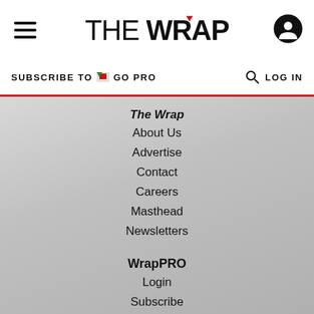THE WRAP
SUBSCRIBE TO GO PRO   LOG IN
The Wrap
About Us
Advertise
Contact
Careers
Masthead
Newsletters
WrapPRO
Login
Subscribe
Team Plan
Learn More
Legal
Terms of Service
Privacy Policy
AdChoices